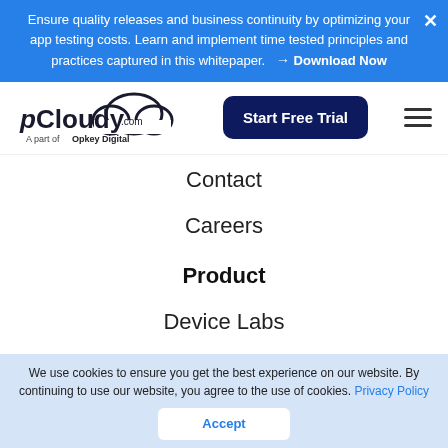Ensure quality releases and business continuity by optimizing your app testing costs. Learn and implement time tested principles and practices captured in this whitepaper. → Download Now
[Figure (logo): pCloudy.com logo with cloud icon, tagline: A part of Opkey Digital]
Start Free Trial
Contact
Careers
Product
Device Labs
Browser Labs
Rapid A...
Contact Us
We use cookies to ensure you get the best experience on our website. By continuing to use our website, you agree to the use of cookies. Privacy Policy
Accept